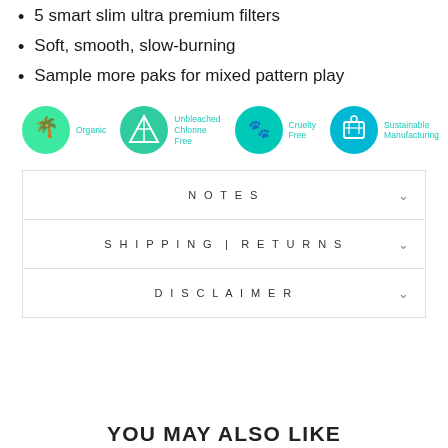5 smart slim ultra premium filters
Soft, smooth, slow-burning
Sample more paks for mixed pattern play
[Figure (infographic): Four circular icons with labels: Organic (green), Unbleached Chlorine Free (teal), Cruelty Free (teal), Sustainable Manufacturing (teal)]
NOTES
SHIPPING | RETURNS
DISCLAIMER
YOU MAY ALSO LIKE